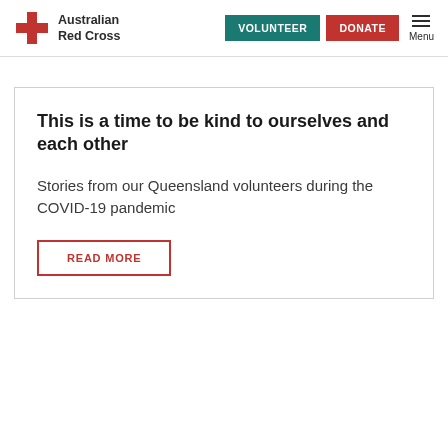Australian Red Cross — VOLUNTEER | DONATE | Menu
This is a time to be kind to ourselves and each other
Stories from our Queensland volunteers during the COVID-19 pandemic
READ MORE